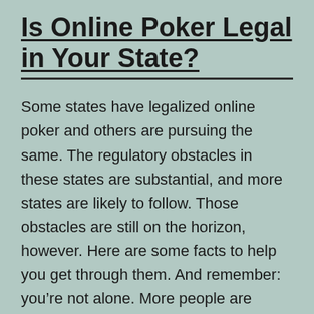Is Online Poker Legal in Your State?
Some states have legalized online poker and others are pursuing the same. The regulatory obstacles in these states are substantial, and more states are likely to follow. Those obstacles are still on the horizon, however. Here are some facts to help you get through them. And remember: you’re not alone. More people are trying to enjoy the benefits of online poker. Here are some ways you can make sure you’re not the next victim.